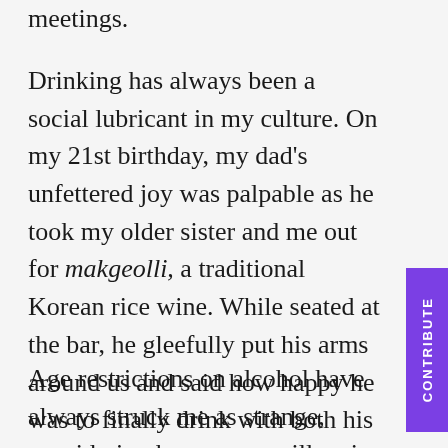meetings.
Drinking has always been a social lubricant in my culture. On my 21st birthday, my dad's unfettered joy was palpable as he took my older sister and me out for makgeolli, a traditional Korean rice wine. While seated at the bar, he gleefully put his arms around us and said how happy he was to finally drink with both his daughters, legally.
Age restrictions on alcohol have always struck me as strange, considering how many millennia humans have been